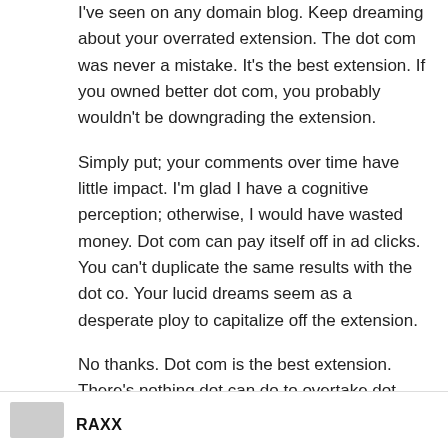I've seen on any domain blog. Keep dreaming about your overrated extension. The dot com was never a mistake. It's the best extension. If you owned better dot com, you probably wouldn't be downgrading the extension.
Simply put; your comments over time have little impact. I'm glad I have a cognitive perception; otherwise, I would have wasted money. Dot com can pay itself off in ad clicks. You can't duplicate the same results with the dot co. Your lucid dreams seem as a desperate ploy to capitalize off the extension.
No thanks. Dot com is the best extension. There's nothing dot can do to overtake dot com.
Reply
RAXX